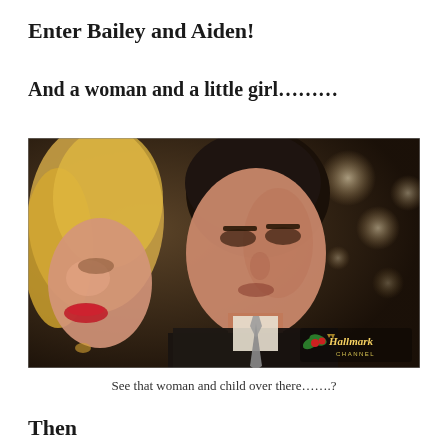Enter Bailey and Aiden!
And a woman and a little girl.........
[Figure (photo): A man in a dark suit with a grey tie looking slightly upward and to the side, next to a blonde woman with red lips visible on the left edge. The scene appears to be at a festive event with bokeh string lights in the background. A Hallmark Channel watermark/logo is visible in the bottom right corner.]
See that woman and child over there.......?
Then